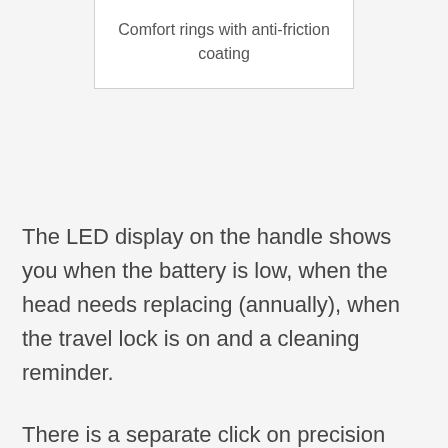Comfort rings with anti-friction coating
The LED display on the handle shows you when the battery is low, when the head needs replacing (annually), when the travel lock is on and a cleaning reminder.
There is a separate click on precision trimmer for sideburns, around beards etc.